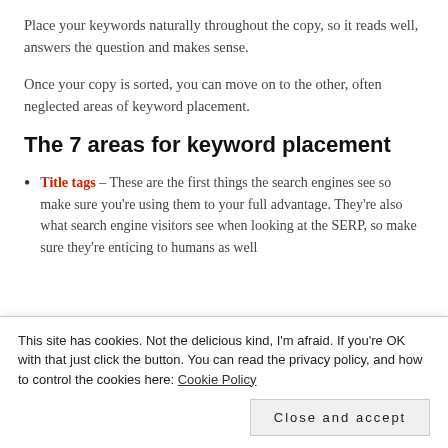Place your keywords naturally throughout the copy, so it reads well, answers the question and makes sense.
Once your copy is sorted, you can move on to the other, often neglected areas of keyword placement.
The 7 areas for keyword placement
Title tags – These are the first things the search engines see so make sure you're using them to your full advantage. They're also what search engine visitors see when looking at the SERP, so make sure they're enticing to humans as well
This site has cookies. Not the delicious kind, I'm afraid. If you're OK with that just click the button. You can read the privacy policy, and how to control the cookies here: Cookie Policy
Close and accept